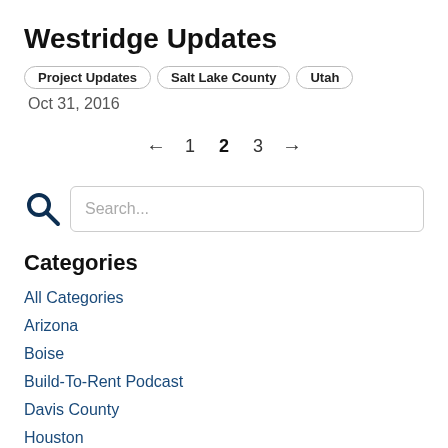Westridge Updates
Project Updates   Salt Lake County   Utah   Oct 31, 2016
← 1 2 3 →
[Figure (other): Search bar with magnifying glass icon and placeholder text 'Search...']
Categories
All Categories
Arizona
Boise
Build-To-Rent Podcast
Davis County
Houston